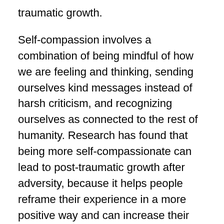traumatic growth.
Self-compassion involves a combination of being mindful of how we are feeling and thinking, sending ourselves kind messages instead of harsh criticism, and recognizing ourselves as connected to the rest of humanity. Research has found that being more self-compassionate can lead to post-traumatic growth after adversity, because it helps people reframe their experience in a more positive way and can increase their sense of meaning.
Seek meaning and purpose. Post-traumatic growth researchers find that often people recover best from trauma when they can find some meaning in their experience. And research conducted during the